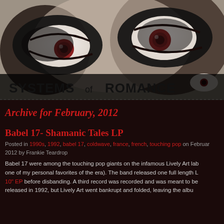[Figure (illustration): Close-up black and white illustration of a face with wide, staring eyes with red pupils/irises, heavy dark shadowing around the eyes, with text 'SYSTEMS OF ROMANCE' in bold stylized font at the bottom left of the image.]
Archive for February, 2012
Babel 17- Shamanic Tales LP
Posted in 1990s, 1992, babel 17, coldwave, france, french, touching pop on February 2012 by Frankie Teardrop
Babel 17 were among the touching pop giants on the infamous Lively Art lab one of my personal favorites of the era). The band released one full length L 10" EP before disbanding. A third record was recorded and was meant to be released in 1992, but Lively Art went bankrupt and folded, leaving the albu